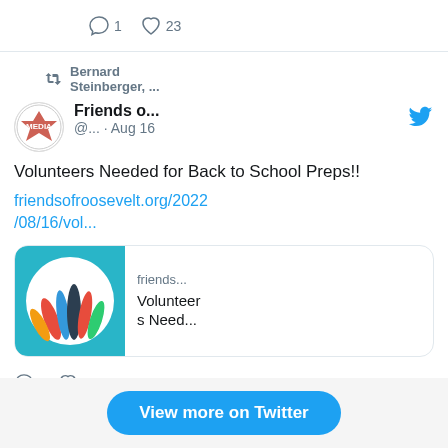[Figure (screenshot): Top action bar showing comment icon with count 1 and heart icon with count 23]
[Figure (screenshot): Twitter/X tweet card. Retweeted by Bernard Steinberger. Account: Friends o... @... Aug 16. Text: Volunteers Needed for Back to School Preps!! friendsofroosevelt.org/2022/08/16/vol... Link preview showing hands raised image and 'friends... Volunteers Need...' Actions: 0 comments, 2 likes.]
View more on Twitter